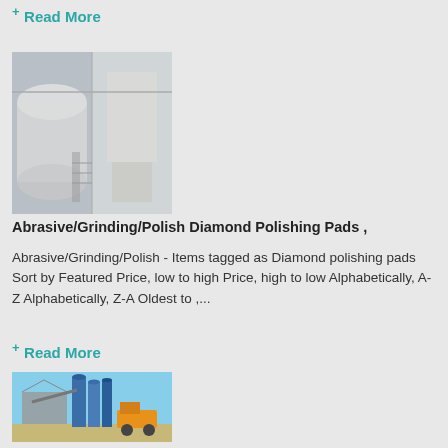+ Read More
[Figure (photo): Industrial machinery interior with metal tanks and equipment]
Abrasive/Grinding/Polish Diamond Polishing Pads ,
Abrasive/Grinding/Polish - Items tagged as Diamond polishing pads Sort by Featured Price, low to high Price, high to low Alphabetically, A-Z Alphabetically, Z-A Oldest to ,...
+ Read More
[Figure (photo): Industrial plant exterior with blue silos and construction equipment]
Diamond Polishing Pad